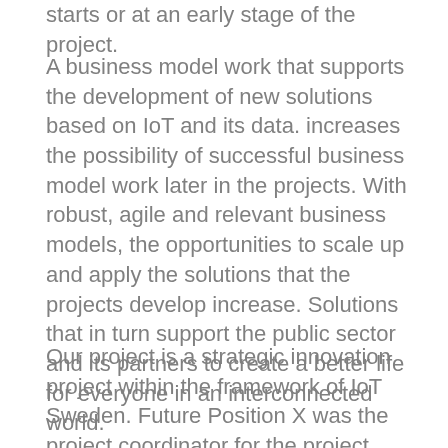starts or at an early stage of the project.
A business model work that supports the development of new solutions based on IoT and its data. increases the possibility of successful business model work later in the projects. With robust, agile and relevant business models, the opportunities to scale up and apply the solutions that the projects develop increase. Solutions that in turn support the public sector and its partners to create a better life for everyone in an interconnected world.
Our project is a strategic innovation project within the framework of IoT Sweden. Future Position X was the project coordinator for the project and has produced the content in